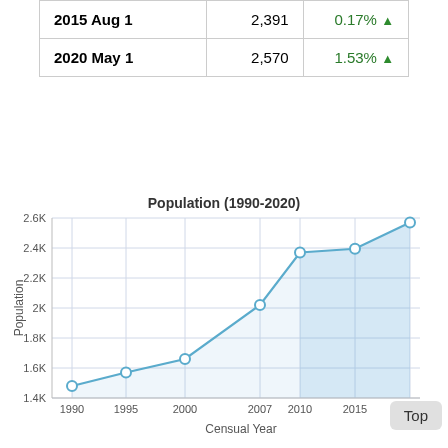| Date | Population | Change |
| --- | --- | --- |
| 2015 Aug 1 | 2,391 | 0.17% ▲ |
| 2020 May 1 | 2,570 | 1.53% ▲ |
[Figure (area-chart): Population (1990-2020)]